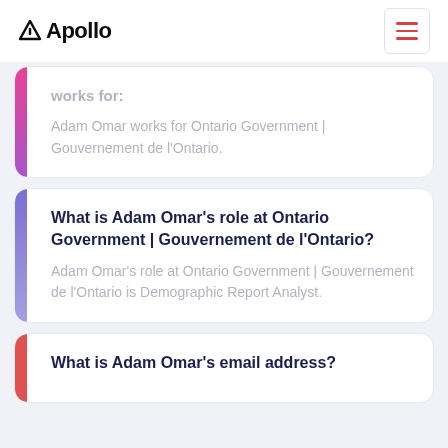Apollo
Adam Omar works for Ontario Government | Gouvernement de l'Ontario.
What is Adam Omar's role at Ontario Government | Gouvernement de l’Ontario?
Adam Omar's role at Ontario Government | Gouvernement de l’Ontario is Demographic Report Analyst.
What is Adam Omar's email address?